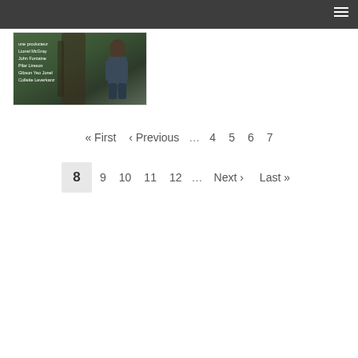Navigation bar with hamburger menu
[Figure (photo): A photo thumbnail showing a person against a tree with text overlay listing names/credits]
« First ‹ Previous … 4 5 6 7 8 9 10 11 12 … Next › Last »